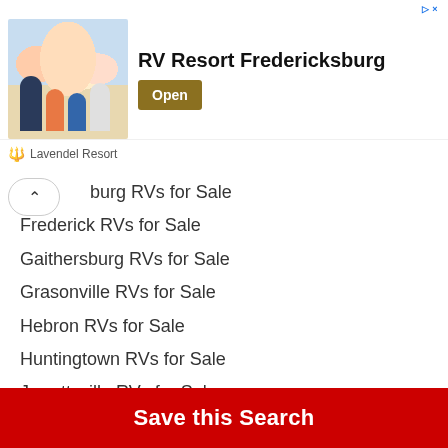[Figure (illustration): Advertisement banner for RV Resort Fredericksburg showing a family photo with adults and children, with a dark gold 'Open' button]
Lavendel Resort
burg RVs for Sale
Frederick RVs for Sale
Gaithersburg RVs for Sale
Grasonville RVs for Sale
Hebron RVs for Sale
Huntingtown RVs for Sale
Jarrettsville RVs for Sale
Joppa RVs for Sale
Laurel RVs for Sale
Manchester RVs for Sale
Millersville RVs for Sale
New Market RVs for Sale
Save this Search